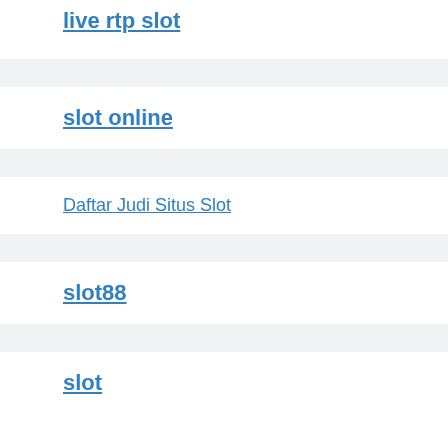live rtp slot
slot online
Daftar Judi Situs Slot
slot88
slot